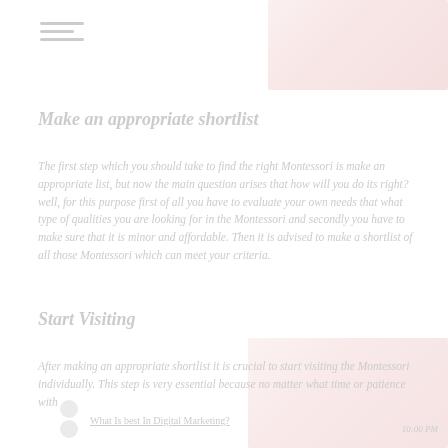Make an appropriate shortlist
The first step which you should take to find the right Montessori is make an appropriate list, but now the main question arises that how will you do its right? well, for this purpose first of all you have to evaluate your own needs that what type of qualities you are looking for in the Montessori and secondly you have to make sure that it is minor and affordable. Then it is advised to make a shortlist of all those Montessori which can meet your criteria.
Start Visiting
After making an appropriate shortlist it is crucial to start visiting the Montessori individually. This step is very essential because no matter what time or patience with
What Is best In Digital Marketing?